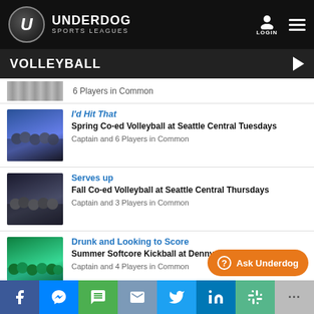[Figure (logo): Underdog Sports Leagues logo with U in circle and text]
VOLLEYBALL
6 Players in Common
I'd Hit That — Spring Co-ed Volleyball at Seattle Central Tuesdays — Captain and 6 Players in Common
Serves up — Fall Co-ed Volleyball at Seattle Central Thursdays — Captain and 3 Players in Common
Drunk and Looking to Score — Summer Softcore Kickball at Denny Park Tues/Thurs — Captain and 4 Players in Common
Pump Up The Volume (partial)
[Figure (screenshot): Ask Underdog orange button]
[Figure (infographic): Social share bar: Facebook, Messenger, SMS, Mail, Twitter, LinkedIn, Slack, more]